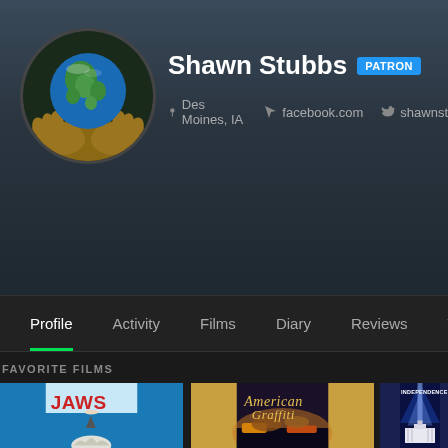[Figure (photo): Circular avatar showing hands holding Earth globe]
Shawn Stubbs PATRON
Des Moines, IA   facebook.com   shawnst
Profile   Activity   Films   Diary   Reviews   W
FAVORITE FILMS
[Figure (photo): JAWS movie poster]
[Figure (photo): American Graffiti movie poster]
[Figure (photo): Independence Day movie poster (partially visible)]